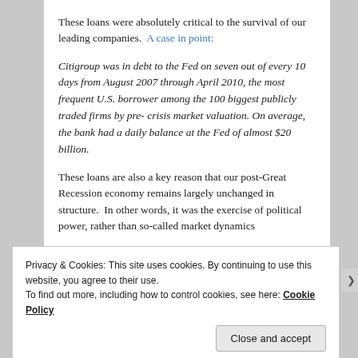These loans were absolutely critical to the survival of our leading companies.  A case in point:
Citigroup was in debt to the Fed on seven out of every 10 days from August 2007 through April 2010, the most frequent U.S. borrower among the 100 biggest publicly traded firms by pre- crisis market valuation. On average, the bank had a daily balance at the Fed of almost $20 billion.
These loans are also a key reason that our post-Great Recession economy remains largely unchanged in structure.  In other words, it was the exercise of political power, rather than so-called market dynamics
Privacy & Cookies: This site uses cookies. By continuing to use this website, you agree to their use.
To find out more, including how to control cookies, see here: Cookie Policy